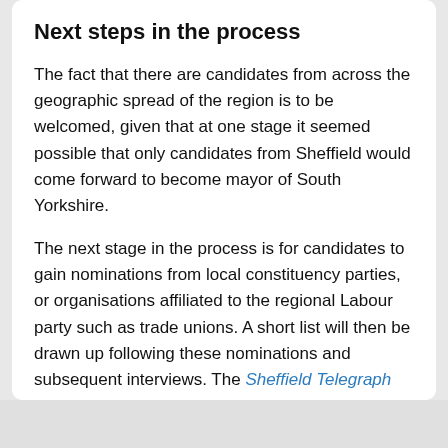Next steps in the process
The fact that there are candidates from across the geographic spread of the region is to be welcomed, given that at one stage it seemed possible that only candidates from Sheffield would come forward to become mayor of South Yorkshire.
The next stage in the process is for candidates to gain nominations from local constituency parties, or organisations affiliated to the regional Labour party such as trade unions. A short list will then be drawn up following these nominations and subsequent interviews. The Sheffield Telegraph reports that it's likely the list will